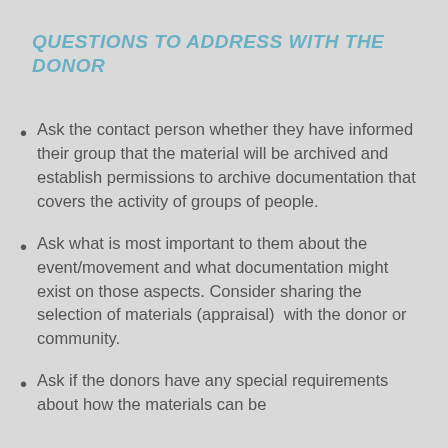QUESTIONS TO ADDRESS WITH THE DONOR
Ask the contact person whether they have informed their group that the material will be archived and establish permissions to archive documentation that covers the activity of groups of people.
Ask what is most important to them about the event/movement and what documentation might exist on those aspects. Consider sharing the selection of materials (appraisal)  with the donor or community.
Ask if the donors have any special requirements about how the materials can be